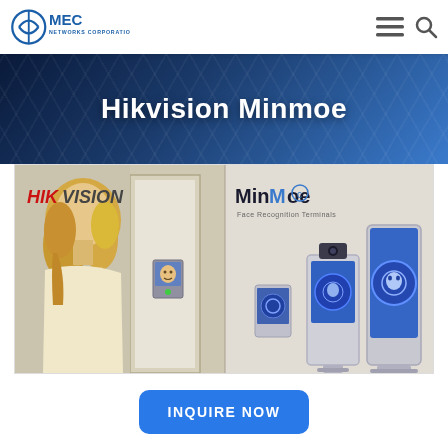[Figure (logo): MEC Networks Corporation logo with circular icon and blue text]
Hikvision Minmoe
[Figure (photo): Split product image: left side shows a woman using a Hikvision face recognition terminal at a door; right side shows MinMoe Face Recognition Terminals product lineup with Hikvision branding and multiple device models]
INQUIRE NOW